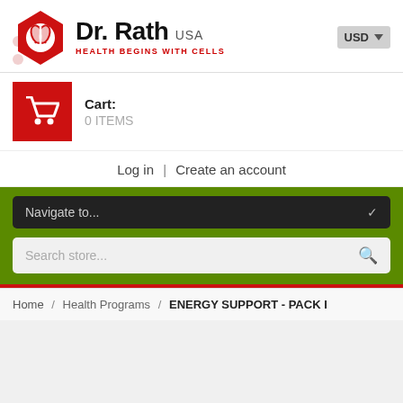[Figure (logo): Dr. Rath USA logo with red hexagon shape containing a white leaf/sprout icon, brand name 'Dr. Rath USA' in bold black text, tagline 'HEALTH BEGINS WITH CELLS' in red]
Cart: 0 ITEMS
Log in | Create an account
Navigate to...
Search store...
Home / Health Programs / ENERGY SUPPORT - PACK I